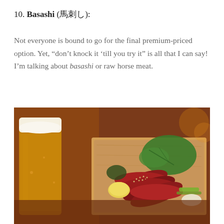10. Basashi (馬刺し):
Not everyone is bound to go for the final premium-priced option. Yet, “don’t knock it ‘till you try it” is all that I can say! I’m talking about basashi or raw horse meat.
[Figure (photo): Photo of basashi (raw horse meat sashimi) served on a wooden board with sesame seeds, green shiso leaf, lemon wedge, and condiments, alongside a glass of beer on a wooden table.]